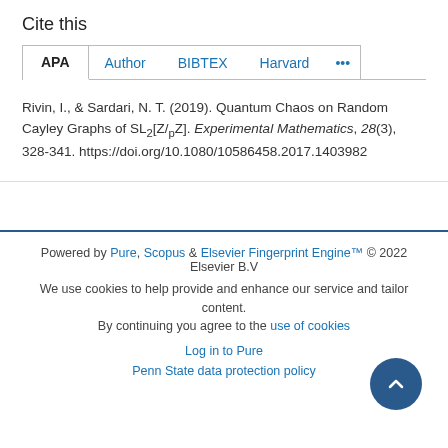Cite this
APA  Author  BIBTEX  Harvard  ...
Rivin, I., & Sardari, N. T. (2019). Quantum Chaos on Random Cayley Graphs of SL2[Z/pZ]. Experimental Mathematics, 28(3), 328-341. https://doi.org/10.1080/10586458.2017.1403982
Powered by Pure, Scopus & Elsevier Fingerprint Engine™ © 2022 Elsevier B.V
We use cookies to help provide and enhance our service and tailor content. By continuing you agree to the use of cookies
Log in to Pure
Penn State data protection policy